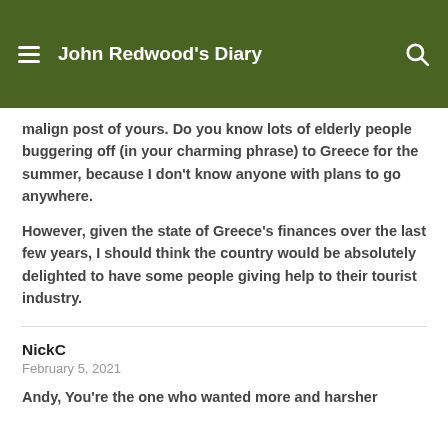John Redwood's Diary
malign post of yours. Do you know lots of elderly people buggering off (in your charming phrase) to Greece for the summer, because I don't know anyone with plans to go anywhere.
However, given the state of Greece's finances over the last few years, I should think the country would be absolutely delighted to have some people giving help to their tourist industry.
NickC
February 5, 2021
Andy, You're the one who wanted more and harsher